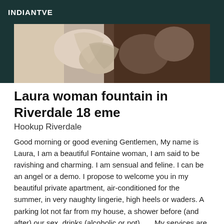INDIANTVE
[Figure (photo): Close-up photo of hands, partially visible, with blurred brown background]
Laura woman fountain in Riverdale 18 eme
Hookup Riverdale
Good morning or good evening Gentlemen, My name is Laura, I am a beautiful Fontaine woman, I am said to be ravishing and charming. I am sensual and feline. I can be an angel or a demo. I propose to welcome you in my beautiful private apartment, air-conditioned for the summer, in very naughty lingerie, high heels or waders. A parking lot not far from my house, a shower before (and after) our sex, drinks (alcoholic or not) ..... My services are intended only for polite, courteous, well educated gentlemen, with an irreproachable hygiene